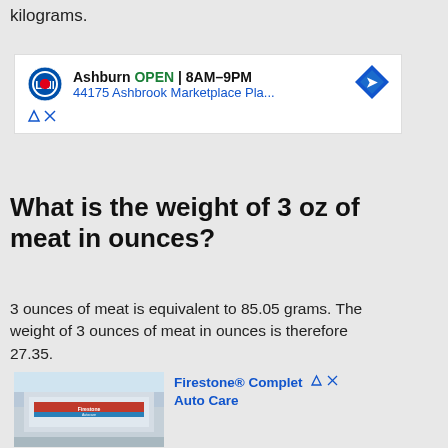kilograms.
[Figure (other): Lidl advertisement banner showing Ashburn store location, OPEN 8AM-9PM, address 44175 Ashbrook Marketplace Pla...]
What is the weight of 3 oz of meat in ounces?
3 ounces of meat is equivalent to 85.05 grams. The weight of 3 ounces of meat in ounces is therefore 27.35.
[Figure (photo): Firestone Complete Auto Care advertisement showing a Firestone auto care store building exterior]
Ad